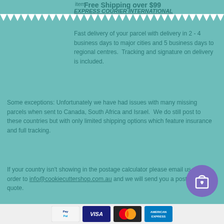item
Free Shipping over $99
EXPRESS COURIER INTERNATIONAL
Fast delivery of your parcel with delivery in 2 - 4 business days to major cities and 5 business days to regional centres.  Tracking and signature on delivery is included.
Some exceptions: Unfortunately we have had issues with many missing parcels when sent to Canada, South Africa and Israel.  We do still post to these countries but with only limited shipping options which feature insurance and full tracking.
If your country isn't showing in the postage calculator please email us your order to info@cookiecuttershop.com.au and we will send you a postage quote.
[Figure (other): Purple circular cart/shopping bag button icon]
[Figure (other): Payment method icons: PayPal, Visa, Mastercard, American Express]